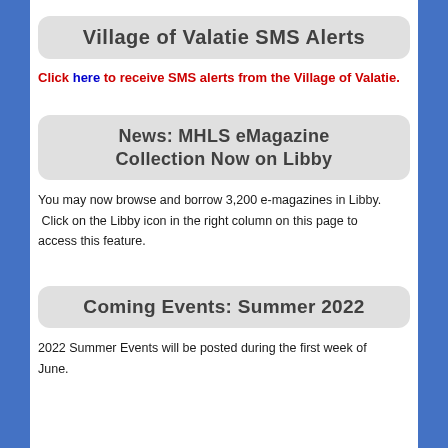Village of Valatie SMS Alerts
Click here to receive SMS alerts from the Village of Valatie.
News: MHLS eMagazine Collection Now on Libby
You may now browse and borrow 3,200 e-magazines in Libby. Click on the Libby icon in the right column on this page to access this feature.
Coming Events: Summer 2022
2022 Summer Events will be posted during the first week of June.